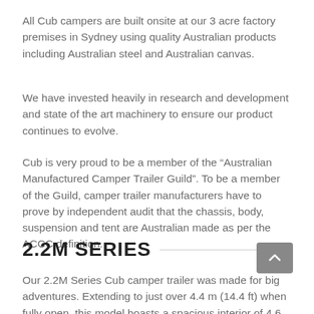All Cub campers are built onsite at our 3 acre factory premises in Sydney using quality Australian products including Australian steel and Australian canvas.
We have invested heavily in research and development and state of the art machinery to ensure our product continues to evolve.
Cub is very proud to be a member of the “Australian Manufactured Camper Trailer Guild”. To be a member of the Guild, camper trailer manufacturers have to prove by independent audit that the chassis, body, suspension and tent are Australian made as per the ACCC definition.
2.2M SERIES
Our 2.2M Series Cub camper trailer was made for big adventures. Extending to just over 4.4 m (14.4 ft) when fully open, this model boasts a spacious interior of 4.6...